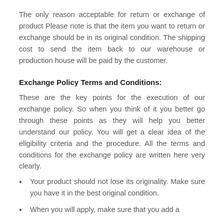The only reason acceptable for return or exchange of product Please note is that the item you want to return or exchange should be in its original condition. The shipping cost to send the item back to our warehouse or production house will be paid by the customer.
Exchange Policy Terms and Conditions:
These are the key points for the execution of our exchange policy. So when you think of it you better go through these points as they will help you better understand our policy. You will get a clear idea of the eligibility criteria and the procedure. All the terms and conditions for the exchange policy are written here very clearly.
Your product should not lose its originality. Make sure you have it in the best original condition.
When you will apply, make sure that you add a